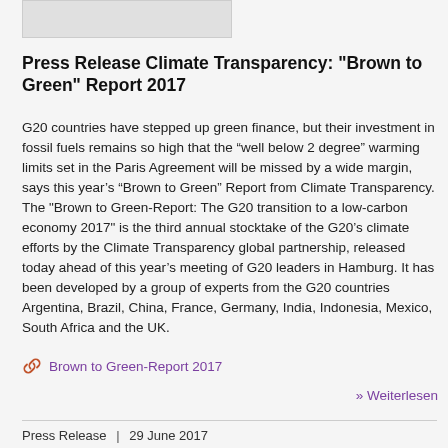[Figure (other): Gray placeholder image box at top of page]
Press Release Climate Transparency: "Brown to Green" Report 2017
G20 countries have stepped up green finance, but their investment in fossil fuels remains so high that the “well below 2 degree” warming limits set in the Paris Agreement will be missed by a wide margin, says this year’s “Brown to Green” Report from Climate Transparency. The "Brown to Green-Report: The G20 transition to a low-carbon economy 2017" is the third annual stocktake of the G20’s climate efforts by the Climate Transparency global partnership, released today ahead of this year’s meeting of G20 leaders in Hamburg. It has been developed by a group of experts from the G20 countries Argentina, Brazil, China, France, Germany, India, Indonesia, Mexico, South Africa and the UK.
Brown to Green-Report 2017
» Weiterlesen
Press Release  |  29 June 2017